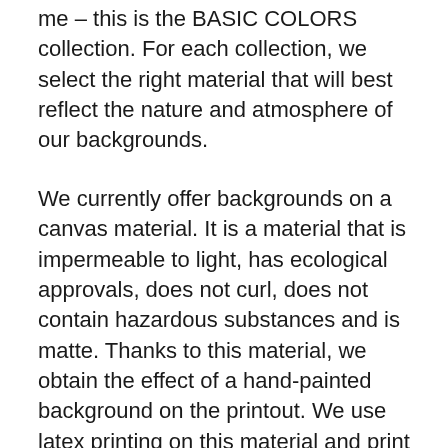me – this is the BASIC COLORS collection. For each collection, we select the right material that will best reflect the nature and atmosphere of our backgrounds.
We currently offer backgrounds on a canvas material. It is a material that is impermeable to light, has ecological approvals, does not curl, does not contain hazardous substances and is matte. Thanks to this material, we obtain the effect of a hand-painted background on the printout. We use latex printing on this material and print the Basic Colors collection on it.
However, we do not limit ourselves to one material – it is important for us to